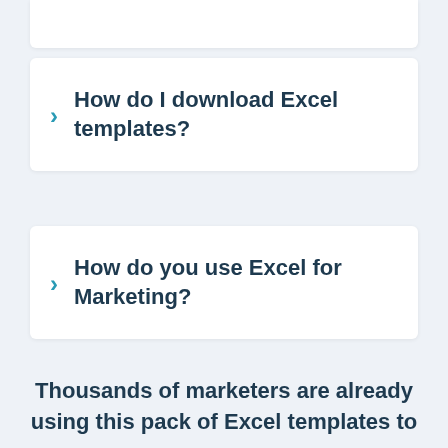How do I download Excel templates?
How do you use Excel for Marketing?
Thousands of marketers are already using this pack of Excel templates to